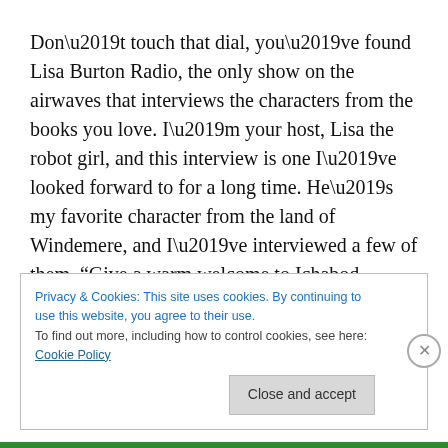Don’t touch that dial, you’ve found Lisa Burton Radio, the only show on the airwaves that interviews the characters from the books you love. I’m your host, Lisa the robot girl, and this interview is one I’ve looked forward to for a long time. He’s my favorite character from the land of Windemere, and I’ve interviewed a few of them. “Give a warm welcome to Ichabod Brooks.”
“Thanks. Happy to be here and . . . talk. I have to admit that I’m not really sure how this set up works. I didn’t bring
Privacy & Cookies: This site uses cookies. By continuing to use this website, you agree to their use.
To find out more, including how to control cookies, see here: Cookie Policy